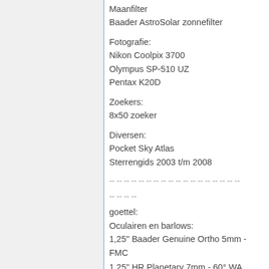Maanfilter
Baader AstroSolar zonnefilter
Fotografie:
Nikon Coolpix 3700
Olympus SP-510 UZ
Pentax K20D
Zoekers:
8x50 zoeker
Diversen:
Pocket Sky Atlas
Sterrengids 2003 t/m 2008
-- -- -- -- -- -- -- -- -- -- -- -- -- -- -- -- -- --
-- -- -- --
goettel:
Oculairen en barlows:
1,25" Baader Genuine Ortho 5mm - FMC
1,25" HR Planetary 7mm - 60° WA
1,25" TS 12mm
1,25" Plösl 25mm